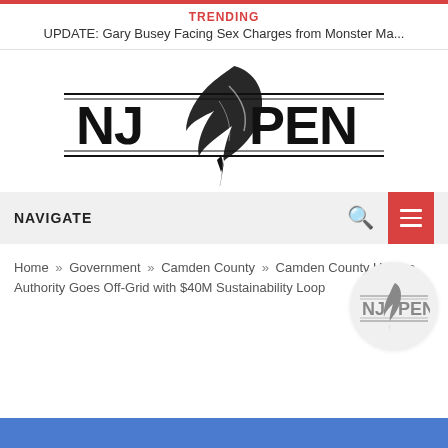TRENDING
UPDATE: Gary Busey Facing Sex Charges from Monster Ma...
[Figure (logo): NJ Pen logo — a quill pen integrated into the text 'NJPEN' with two horizontal lines above and below, and a small quill tip below]
NAVIGATE
Home » Government » Camden County » Camden County Utilities Authority Goes Off-Grid with $40M Sustainability Loop